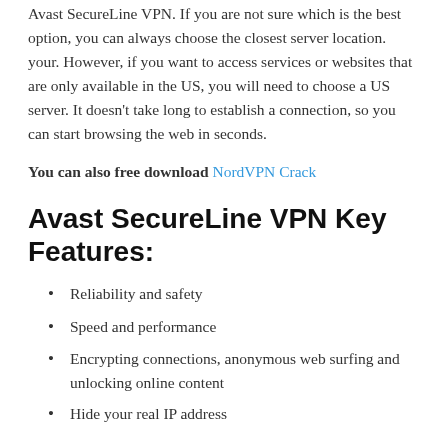Avast SecureLine VPN. If you are not sure which is the best option, you can always choose the closest server location. your. However, if you want to access services or websites that are only available in the US, you will need to choose a US server. It doesn't take long to establish a connection, so you can start browsing the web in seconds.
You can also free download NordVPN Crack
Avast SecureLine VPN Key Features:
Reliability and safety
Speed and performance
Encrypting connections, anonymous web surfing and unlocking online content
Hide your real IP address